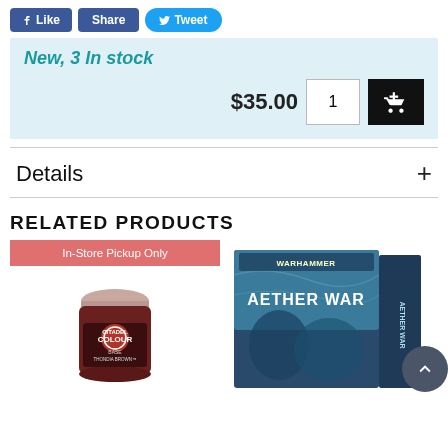Like | Share | Tweet
New, 3 In stock
$35.00
Details +
RELATED PRODUCTS
[Figure (photo): Citadel Colour Base Thondia Brown paint pot with In-Store Pickup Only badge]
[Figure (photo): Warhammer Age of Sigmar Aether War box set]